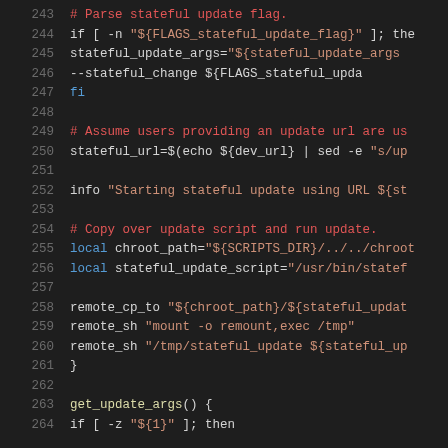[Figure (screenshot): Shell script source code displayed in a dark-themed code editor, lines 243-264, showing bash functions for stateful update logic including argument parsing, URL construction, remote commands, and function definitions.]